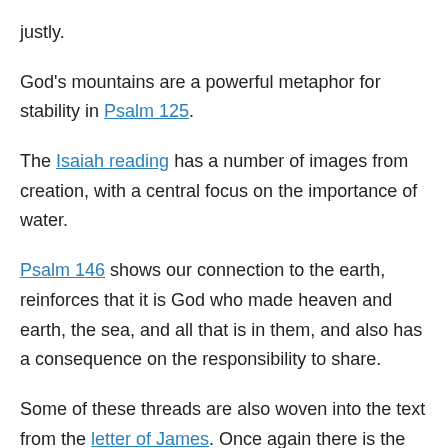justly.
God's mountains are a powerful metaphor for stability in Psalm 125.
The Isaiah reading has a number of images from creation, with a central focus on the importance of water.
Psalm 146 shows our connection to the earth, reinforces that it is God who made heaven and earth, the sea, and all that is in them, and also has a consequence on the responsibility to share.
Some of these threads are also woven into the text from the letter of James. Once again there is the acknowledgement of our duty to share and care within the creation God graciously gives.
The natural environment of Tyre, Sidon, the Sea of Galilee, and the region of the Decapolis form the frame for Mark's story of a a